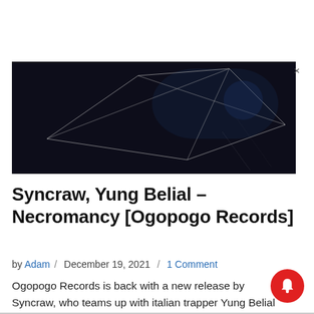[Figure (illustration): Dark abstract banner image with geometric line art (triangular shapes) on a dark/black textured background, partially visible, with a close button (×) at top right corner.]
Syncraw, Yung Belial – Necromancy [Ogopogo Records]
by Adam / December 19, 2021 / 1 Comment
Ogopogo Records is back with a new release by Syncraw, who teams up with italian trapper Yung Belial to provide… Read More »